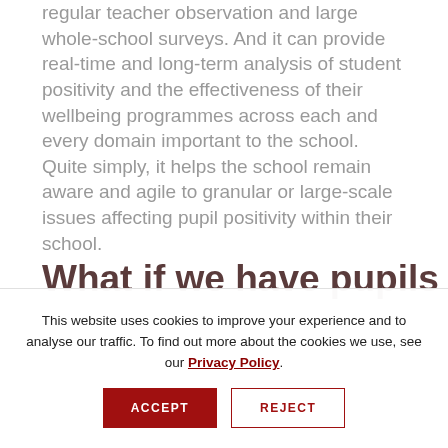regular teacher observation and large whole-school surveys. And it can provide real-time and long-term analysis of student positivity and the effectiveness of their wellbeing programmes across each and every domain important to the school. Quite simply, it helps the school remain aware and agile to granular or large-scale issues affecting pupil positivity within their school.
What if we have pupils
This website uses cookies to improve your experience and to analyse our traffic. To find out more about the cookies we use, see our Privacy Policy.